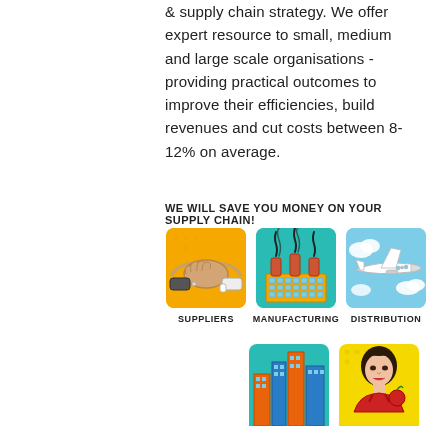& supply chain strategy. We offer expert resource to small, medium and large scale organisations - providing practical outcomes to improve their efficiencies, build revenues and cut costs between 8-12% on average.
WE WILL SAVE YOU MONEY ON YOUR SUPPLY CHAIN!
[Figure (illustration): Three pop-art style icons in a row: (1) Handshake on orange/yellow background labeled SUPPLIERS, (2) Factory with smoke stacks on teal background labeled MANUFACTURING, (3) Airplane on blue sky background labeled DISTRIBUTION]
[Figure (illustration): Two partially visible pop-art style icons: city buildings on teal background, and a woman on yellow background. Labels partially visible at bottom.]